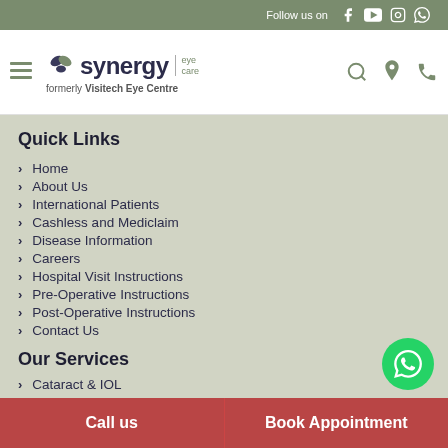Follow us on [social icons]
[Figure (logo): Synergy Eye Care logo with hamburger menu, formerly Visitech Eye Centre]
Quick Links
Home
About Us
International Patients
Cashless and Mediclaim
Disease Information
Careers
Hospital Visit Instructions
Pre-Operative Instructions
Post-Operative Instructions
Contact Us
Our Services
Cataract & IOL
Call us | Book Appointment